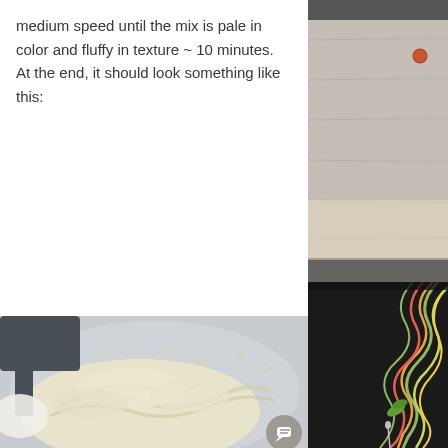medium speed until the mix is pale in color and fluffy in texture ~ 10 minutes. At the end, it should look something like this:
[Figure (photo): A mixing bowl viewed from above showing pale, fluffy whipped butter or cream mixture with swirling peaks, a mixer attachment visible at top left]
[Figure (photo): Right side panel showing a wooden board with a small orange/red circle dot, and below it colorful layered pasta or noodles with leaves, and a needle]